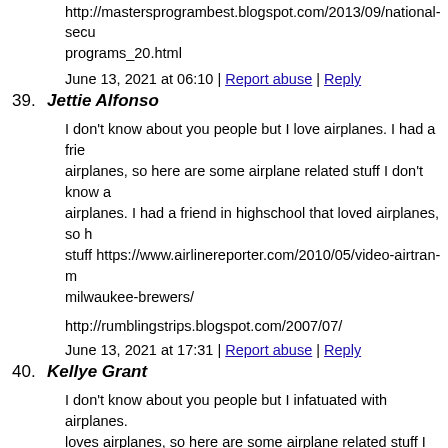http://mastersprogrambest.blogspot.com/2013/09/national-secu programs_20.html
June 13, 2021 at 06:10 | Report abuse | Reply
39. Jettie Alfonso
I don't know about you people but I love airplanes. I had a frie airplanes, so here are some airplane related stuff I don't know a airplanes. I had a friend in highschool that loved airplanes, so h stuff https://www.airlinereporter.com/2010/05/video-airtran-m milwaukee-brewers/
http://rumblingstrips.blogspot.com/2007/07/
June 13, 2021 at 17:31 | Report abuse | Reply
40. Kellye Grant
I don't know about you people but I infatuated with airplanes. loves airplanes, so here are some airplane related stuff I don't k airplanes. I had a friend in highschool that loved airplanes, so h stuff https://www.airlinereporter.com/2010/04/pics-boeing-787 maroc-livery/
http://everydayliteracies.blogspot.com/2005_03_01_archive.ht